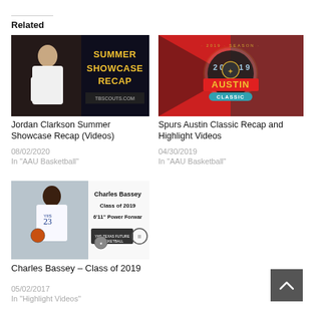Related
[Figure (photo): Jordan Clarkson Summer Showcase Recap thumbnail with text SUMMER SHOWCASE RECAP and TBSCOUTS.COM]
Jordan Clarkson Summer Showcase Recap (Videos)
08/02/2020
In "AAU Basketball"
[Figure (photo): Spurs Austin Classic 2019 logo thumbnail with red and black design]
Spurs Austin Classic Recap and Highlight Videos
04/30/2019
In "AAU Basketball"
[Figure (photo): Charles Bassey Class of 2019 6'11" Power Forward basketball card thumbnail]
Charles Bassey – Class of 2019
05/02/2017
In "Highlight Videos"